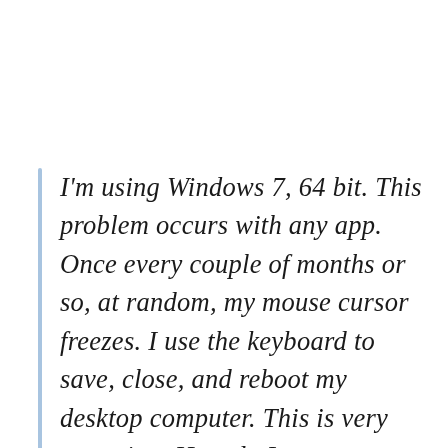I'm using Windows 7, 64 bit. This problem occurs with any app. Once every couple of months or so, at random, my mouse cursor freezes. I use the keyboard to save, close, and reboot my desktop computer. This is very annoying. How do I